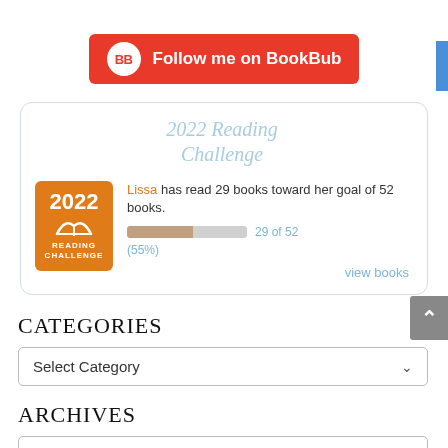[Figure (logo): BookBub follow button - red rounded rectangle with BB circle logo and text 'Follow me on BookBub']
[Figure (infographic): 2022 Reading Challenge widget: Lissa has read 29 books toward her goal of 52 books. Progress bar showing 55%. Orange badge with 2022 Reading Challenge text and open book icon.]
Categories
[Figure (screenshot): Select Category dropdown]
Archives
[Figure (screenshot): Select Month dropdown]